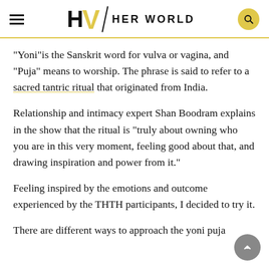HW | HER WORLD
“Yoni”is the Sanskrit word for vulva or vagina, and “Puja” means to worship. The phrase is said to refer to a sacred tantric ritual that originated from India.
Relationship and intimacy expert Shan Boodram explains in the show that the ritual is “truly about owning who you are in this very moment, feeling good about that, and drawing inspiration and power from it.”
Feeling inspired by the emotions and outcome experienced by the THTH participants, I decided to try it.
There are different ways to approach the yoni puja